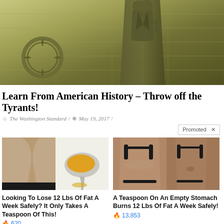[Figure (photo): Bronze statue inside a memorial building with stone walls and a decorative wreath/laurel motif on the left wall]
Learn From American History – Throw off the Tyrants!
The Washington Standard / May 19, 2017 /
Promoted X
[Figure (photo): Advertisement image showing a thin torso and a spoon with yellow powder (turmeric)]
Looking To Lose 12 Lbs Of Fat A Week Safely? It Only Takes A Teaspoon Of This!
620
[Figure (photo): Advertisement image showing before and after back view of a woman in black clothing]
A Teaspoon On An Empty Stomach Burns 12 Lbs Of Fat A Week Safely!
13,853